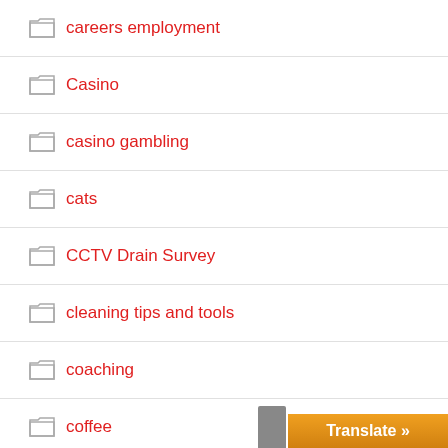careers employment
Casino
casino gambling
cats
CCTV Drain Survey
cleaning tips and tools
coaching
coffee
communication
communications